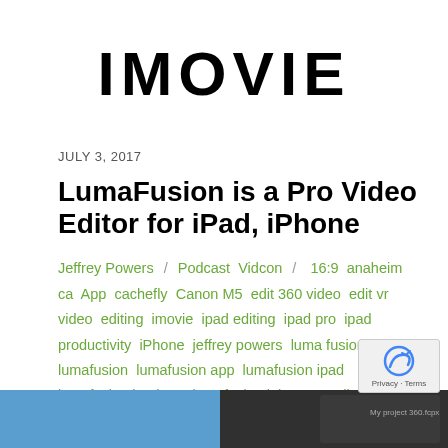IMOVIE
JULY 3, 2017
LumaFusion is a Pro Video Editor for iPad, iPhone
Jeffrey Powers / Podcast Vidcon / 16:9 anaheim ca App cachefly Canon M5 edit 360 video edit vr video editing imovie ipad editing ipad pro ipad productivity iPhone jeffrey powers luma fusion lumafusion lumafusion app lumafusion ipad lumafusion ipad pro lumafusion iphone madison wi mobile journalism pro video editing Technology vidcon editing / 0 Comments
[Figure (photo): Bottom strip showing partial images related to video editing content]